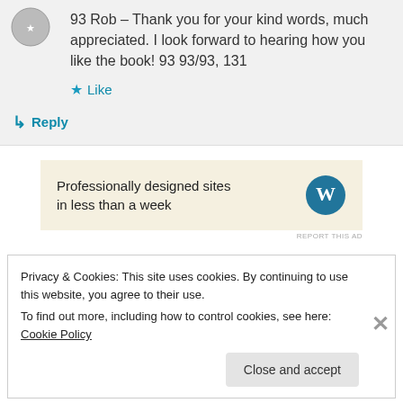93 Rob – Thank you for your kind words, much appreciated. I look forward to hearing how you like the book! 93 93/93, 131
★ Like
↳ Reply
[Figure (screenshot): WordPress advertisement banner: 'Professionally designed sites in less than a week' with WordPress logo]
REPORT THIS AD
Privacy & Cookies: This site uses cookies. By continuing to use this website, you agree to their use.
To find out more, including how to control cookies, see here: Cookie Policy
Close and accept